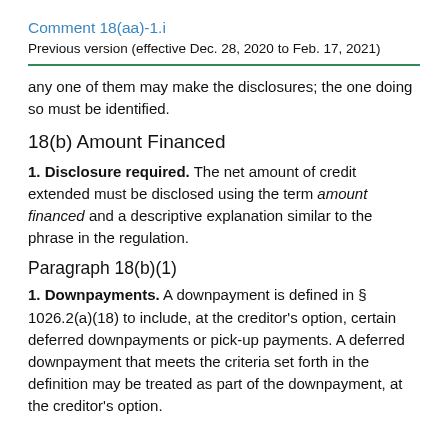Comment 18(aa)-1.i
Previous version (effective Dec. 28, 2020 to Feb. 17, 2021)
any one of them may make the disclosures; the one doing so must be identified.
18(b) Amount Financed
1. Disclosure required. The net amount of credit extended must be disclosed using the term amount financed and a descriptive explanation similar to the phrase in the regulation.
Paragraph 18(b)(1)
1. Downpayments. A downpayment is defined in § 1026.2(a)(18) to include, at the creditor's option, certain deferred downpayments or pick-up payments. A deferred downpayment that meets the criteria set forth in the definition may be treated as part of the downpayment, at the creditor's option.